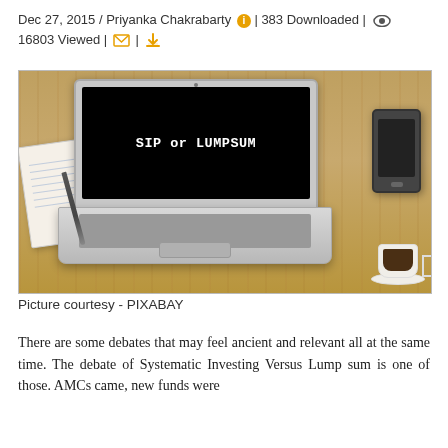Dec 27, 2015 / Priyanka Chakrabarty [info] | 383 Downloaded | [eye] 16803 Viewed | [mail] | [download]
[Figure (photo): A MacBook laptop open on a wooden desk displaying 'SIP or LUMPSUM' on its screen, surrounded by a notebook with a pen, a smartphone, and a coffee cup on a saucer.]
Picture courtesy - PIXABAY
There are some debates that may feel ancient and relevant all at the same time. The debate of Systematic Investing Versus Lump sum is one of those. AMCs came, new funds were